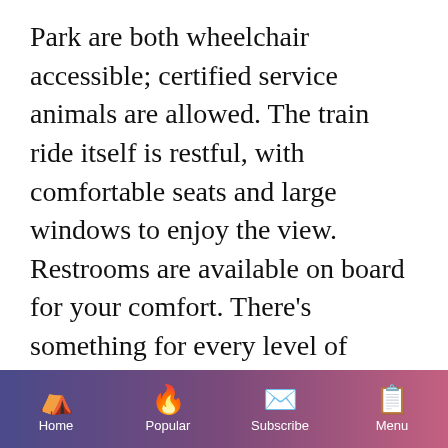Park are both wheelchair accessible; certified service animals are allowed. The train ride itself is restful, with comfortable seats and large windows to enjoy the view. Restrooms are available on board for your comfort. There's something for every level of fitness during the stop in the canyon, including well-maintained trails, picnic tables and benches. Interpretive programming is delivered by wireless headsets in English, French, German, Japanese, Korean, and Mandarin for the train portion of the journey. Wifi is not available on the train.
Home | Popular | Subscribe | Menu